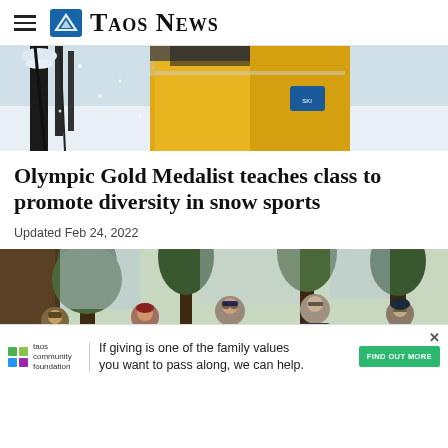Taos News
[Figure (photo): Close-up of a person in a yellow ski jacket holding ski poles in snowy conditions]
Olympic Gold Medalist teaches class to promote diversity in snow sports
Updated Feb 24, 2022
[Figure (photo): Group of five people standing outdoors among pine trees, wearing winter outdoor clothing]
[Figure (other): Advertisement for Taos Community Foundation: 'If giving is one of the family values you want to pass along, we can help.']